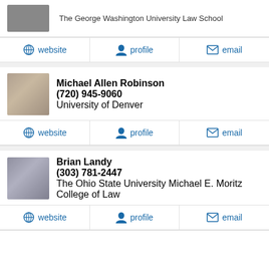[Figure (photo): Partial photo of a person in a dark suit]
The George Washington University Law School
website   profile   email
[Figure (photo): Photo of Michael Allen Robinson, older man with glasses]
Michael Allen Robinson
(720) 945-9060
University of Denver
website   profile   email
[Figure (photo): Photo of Brian Landy, man with curly hair and mustache]
Brian Landy
(303) 781-2447
The Ohio State University Michael E. Moritz College of Law
website   profile   email